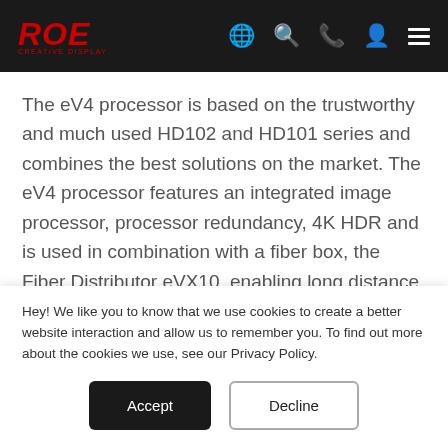ROE Creative Display
The eV4 processor is based on the trustworthy and much used HD102 and HD101 series and combines the best solutions on the market. The eV4 processor features an integrated image processor, processor redundancy, 4K HDR and is used in combination with a fiber box, the Fiber Distributor eVX10, enabling long distance signal transmission.
Hey! We like you to know that we use cookies to create a better website interaction and allow us to remember you. To find out more about the cookies we use, see our Privacy Policy.